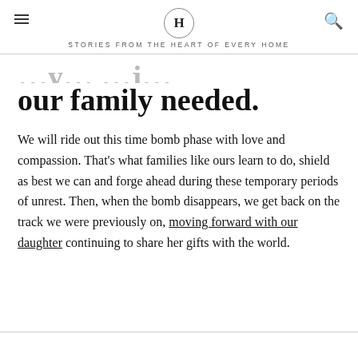H — STORIES FROM THE HEART OF EVERY HOME
our family needed.
We will ride out this time bomb phase with love and compassion. That's what families like ours learn to do, shield as best we can and forge ahead during these temporary periods of unrest. Then, when the bomb disappears, we get back on the track we were previously on, moving forward with our daughter continuing to share her gifts with the world.